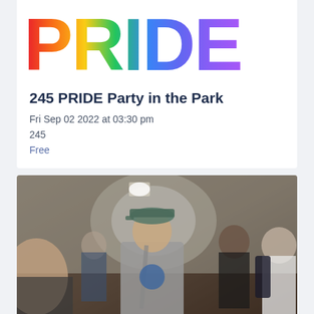[Figure (illustration): Rainbow-colored PRIDE text banner at top of event card]
245 PRIDE Party in the Park
Fri Sep 02 2022 at 03:30 pm
245
Free
[Figure (photo): Photo of people standing and talking in an indoor room; a man wearing a grey hoodie and blue cap is prominent in the center foreground]